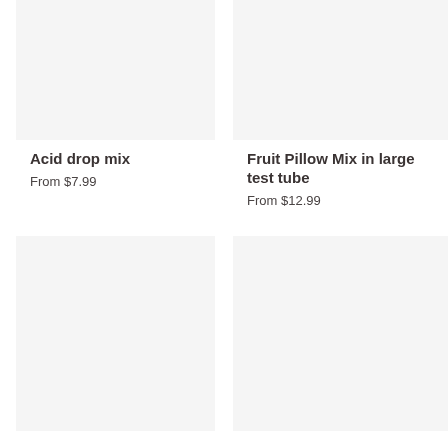[Figure (photo): Product image placeholder for Acid drop mix, light grey background]
Acid drop mix
From $7.99
[Figure (photo): Product image placeholder for Fruit Pillow Mix in large test tube, light grey background]
Fruit Pillow Mix in large test tube
From $12.99
[Figure (photo): Product image placeholder, light grey background, bottom left]
[Figure (photo): Product image placeholder, light grey background, bottom right]